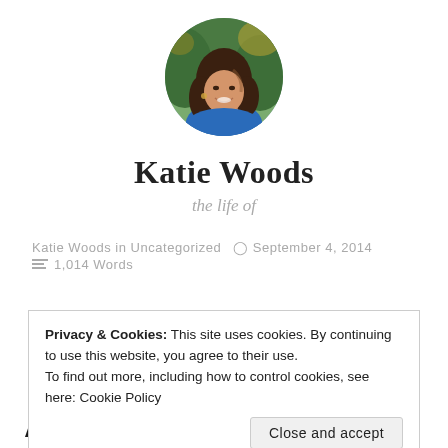[Figure (photo): Circular profile photo of a woman with brown wavy hair, wearing a blue top, smiling, with greenery in the background.]
Katie Woods
the life of
Katie Woods in Uncategorized   September 4, 2014
1,014 Words
Privacy & Cookies: This site uses cookies. By continuing to use this website, you agree to their use.
To find out more, including how to control cookies, see here: Cookie Policy
Close and accept
About Not Being